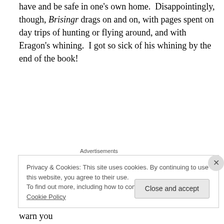have and be safe in one's own home.  Disappointingly, though, Brisingr drags on and on, with pages spent on day trips of hunting or flying around, and with Eragon's whining.  I got so sick of his whining by the end of the book!
[Figure (logo): Longreads advertisement logo with red circular icon and LONGREADS text]
It is not entirely bad, though.  There are several things that I loved about this book.  SPOILER ALERT… warn you
Privacy & Cookies: This site uses cookies. By continuing to use this website, you agree to their use.
To find out more, including how to control cookies, see here: Cookie Policy